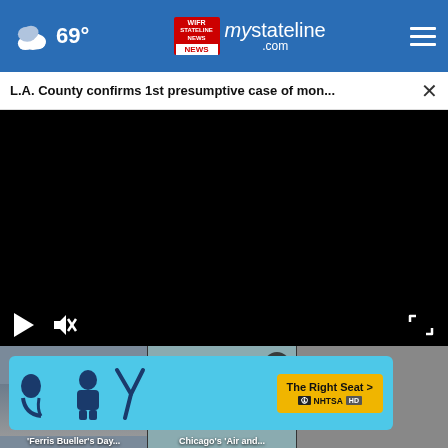69° mystateline.com navigation bar
L.A. County confirms 1st presumptive case of mon...
[Figure (screenshot): Black video player area with play button, mute icon, and fullscreen icon controls]
[Figure (screenshot): Thumbnail strip showing three article preview images including 'Ferris Bueller's Day...' and 'Chicago's Air and...']
[Figure (other): NHTSA The Right Seat advertisement banner with cyan background and yellow call-to-action button]